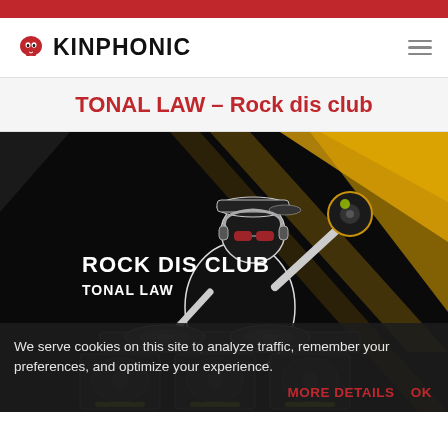KINPHONIC
TONAL LAW – Rock dis club
[Figure (illustration): Album cover artwork for 'Rock Dis Club' by Tonal Law. Dark background with yellow/golden light beams. A stylized cartoon figure wearing a cap and sunglasses stands at a DJ turntable, holding a vinyl record up high. Text on image reads 'ROCK DIS CLUB' and 'TONAL LAW' in bold white letters.]
We serve cookies on this site to analyze traffic, remember your preferences, and optimize your experience.
MORE DETAILS  OK